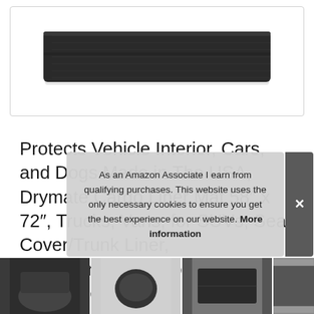[Figure (photo): Product photo of a dark/black Drymate cargo liner mat, folded, shown against a white background inside a rounded rectangle border]
Protects Vehicle Interior, Cars, and Dogs Made in The USA, Drymate Cargo Liner Mat 58″ x 72″, Trucks, Vans, for SUVs, Seat Cover/Trunk Liner, Absorbent/Waterproof/Machine Washable
#ad
As an Amazon Associate I earn from qualifying purchases. This website uses the only necessary cookies to ensure you get the best experience on our website. More information
[Figure (photo): Row of thumbnail product/lifestyle images at the bottom of the page]